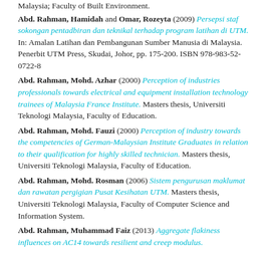Malaysia; Faculty of Built Environment.
Abd. Rahman, Hamidah and Omar, Rozeyta (2009) Persepsi staf sokongan pentadbiran dan teknikal terhadap program latihan di UTM. In: Amalan Latihan dan Pembangunan Sumber Manusia di Malaysia. Penerbit UTM Press, Skudai, Johor, pp. 175-200. ISBN 978-983-52-0722-8
Abd. Rahman, Mohd. Azhar (2000) Perception of industries professionals towards electrical and equipment installation technology trainees of Malaysia France Institute. Masters thesis, Universiti Teknologi Malaysia, Faculty of Education.
Abd. Rahman, Mohd. Fauzi (2000) Perception of industry towards the competencies of German-Malaysian Institute Graduates in relation to their qualification for highly skilled technician. Masters thesis, Universiti Teknologi Malaysia, Faculty of Education.
Abd. Rahman, Mohd. Rosman (2006) Sistem pengurusan maklumat dan rawatan pergigian Pusat Kesihatan UTM. Masters thesis, Universiti Teknologi Malaysia, Faculty of Computer Science and Information System.
Abd. Rahman, Muhammad Faiz (2013) Aggregate flakiness influences on AC14 towards resilient and creep modulus.